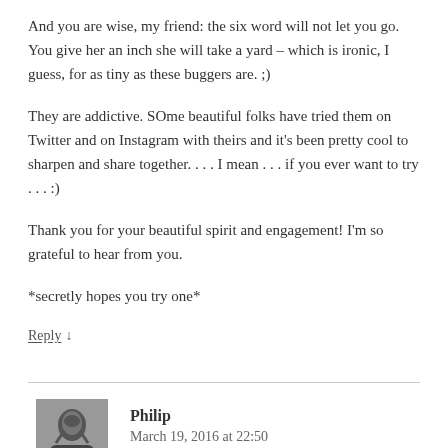And you are wise, my friend: the six word will not let you go. You give her an inch she will take a yard – which is ironic, I guess, for as tiny as these buggers are. ;)
They are addictive. SOme beautiful folks have tried them on Twitter and on Instagram with theirs and it's been pretty cool to sharpen and share together. . . . I mean . . . if you ever want to try . . . :)
Thank you for your beautiful spirit and engagement! I'm so grateful to hear from you.
*secretly hopes you try one*
Reply ↓
Philip
March 19, 2016 at 22:50